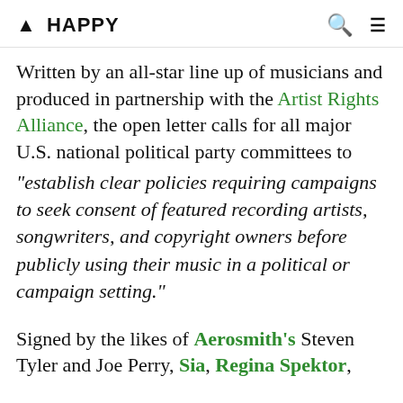▲ HAPPY
Written by an all-star line up of musicians and produced in partnership with the Artist Rights Alliance, the open letter calls for all major U.S. national political party committees to
“establish clear policies requiring campaigns to seek consent of featured recording artists, songwriters, and copyright owners before publicly using their music in a political or campaign setting.”
Signed by the likes of Aerosmith’s Steven Tyler and Joe Perry, Sia, Regina Spektor,